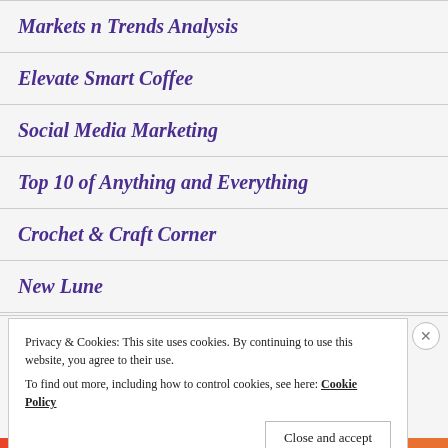Markets n Trends Analysis
Elevate Smart Coffee
Social Media Marketing
Top 10 of Anything and Everything
Crochet & Craft Corner
New Lune
Privacy & Cookies: This site uses cookies. By continuing to use this website, you agree to their use. To find out more, including how to control cookies, see here: Cookie Policy
Close and accept